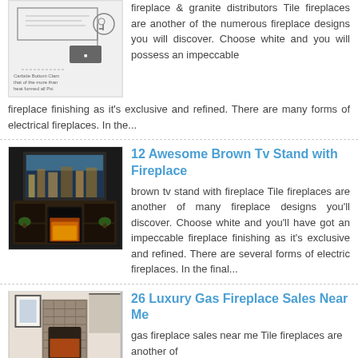[Figure (schematic): Diagram of a fireplace system with labeled components and connection lines]
fireplace & granite distributors Tile fireplaces are another of the numerous fireplace designs you will discover. Choose white and you will possess an impeccable fireplace finishing as it's exclusive and refined. There are many forms of electrical fireplaces. In the...
12 Awesome Brown Tv Stand with Fireplace
[Figure (photo): Photo of a brown TV stand with a built-in electric fireplace, showing a TV on top and shelves on the sides]
brown tv stand with fireplace Tile fireplaces are another of many fireplace designs you'll discover. Choose white and you'll have got an impeccable fireplace finishing as it's exclusive and refined. There are several forms of electric fireplaces. In the final...
26 Luxury Gas Fireplace Sales Near Me
[Figure (photo): Photo of a living room with a stone tile fireplace and framed artwork on the wall]
gas fireplace sales near me Tile fireplaces are another of many fireplace designs you'll...